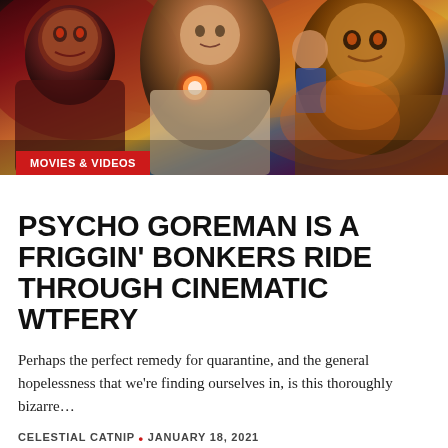[Figure (illustration): Colorful illustrated movie poster-style banner featuring horror/sci-fi characters: a zombie-like figure on the left, a central hero figure holding a glowing orb, and a monster creature on the right, with a 'MOVIES & VIDEOS' category tag in red overlay at bottom left.]
MOVIES & VIDEOS
PSYCHO GOREMAN IS A FRIGGIN’ BONKERS RIDE THROUGH CINEMATIC WTFERY
Perhaps the perfect remedy for quarantine, and the general hopelessness that we’re finding ourselves in, is this thoroughly bizarre…
CELESTIAL CATNIP • JANUARY 18, 2021